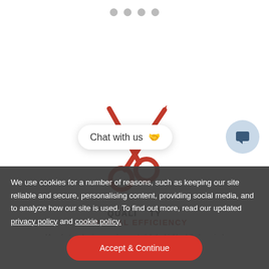[Figure (illustration): Four pagination dots at top center, three gray and one slightly darker]
[Figure (illustration): Red surgical scissors icon centered in white card area]
QUALITY
SURGICAL EFFICIENCY
Manufactured using premium materials by highly skilled surgical instruments craftsmen.
We use cookies for a number of reasons, such as keeping our site reliable and secure, personalising content, providing social media, and to analyze how our site is used. To find out more, read our updated privacy policy and cookie policy.
[Figure (illustration): Chat with us bubble with waving hand emoji]
[Figure (illustration): Blue circle with chat/message icon]
Accept & Continue